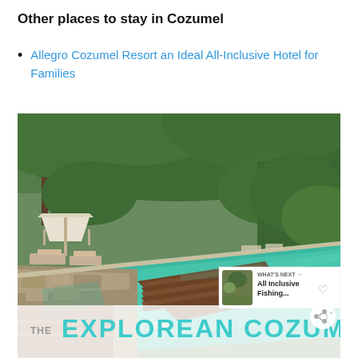Other places to stay in Cozumel
Allegro Cozumel Resort an Ideal All-Inclusive Hotel for Families
[Figure (photo): Outdoor infinity pool at The Explorean Cozumel resort, surrounded by tropical jungle. A wooden deck platform extends into the turquoise pool. Lounge chairs and a white cabana umbrella visible on the left. Bottom overlay shows 'THE EXPLOREAN COZUMEL' branding. Side panel shows 'WHAT'S NEXT → All Inclusive Fishing...' with a thumbnail. Heart and share buttons visible on right side.]